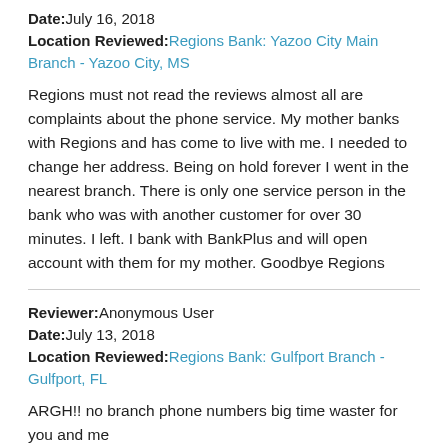Date: July 16, 2018
Location Reviewed: Regions Bank: Yazoo City Main Branch - Yazoo City, MS
Regions must not read the reviews almost all are complaints about the phone service. My mother banks with Regions and has come to live with me. I needed to change her address. Being on hold forever I went in the nearest branch. There is only one service person in the bank who was with another customer for over 30 minutes. I left. I bank with BankPlus and will open account with them for my mother. Goodbye Regions
Reviewer: Anonymous User
Date: July 13, 2018
Location Reviewed: Regions Bank: Gulfport Branch - Gulfport, FL
ARGH!! no branch phone numbers big time waster for you and me
10/10 ★